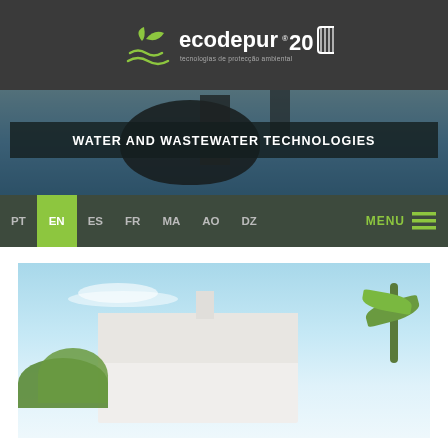[Figure (logo): Ecodepur logo with green plant/water icon and '20 years' anniversary badge on dark grey header background]
[Figure (photo): Banner photo of industrial water tank being lifted by crane, with dark semi-transparent overlay containing the text 'WATER AND WASTEWATER TECHNOLOGIES']
WATER AND WASTEWATER TECHNOLOGIES
PT  EN  ES  FR  MA  AO  DZ  MENU
[Figure (photo): Photo of a modern white building exterior under blue sky with palm trees]